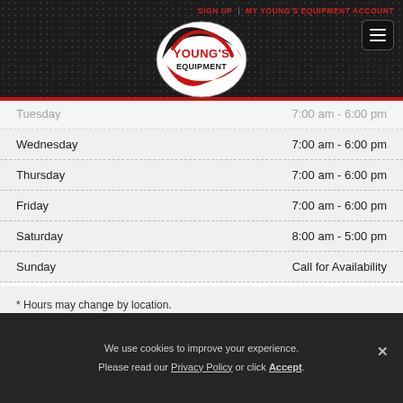SIGN UP | MY YOUNG'S EQUIPMENT ACCOUNT
[Figure (logo): Young's Equipment oval logo with red and black swoosh design, white background]
| Day | Hours |
| --- | --- |
| Tuesday | 7:00 am - 6:00 pm |
| Wednesday | 7:00 am - 6:00 pm |
| Thursday | 7:00 am - 6:00 pm |
| Friday | 7:00 am - 6:00 pm |
| Saturday | 8:00 am - 5:00 pm |
| Sunday | Call for Availability |
* Hours may change by location. Click Here for individual store hours.
We use cookies to improve your experience. Please read our Privacy Policy or click Accept.